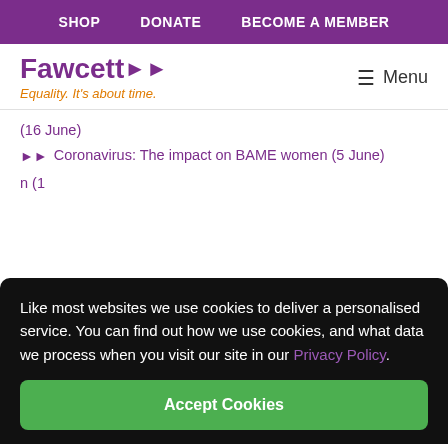SHOP  DONATE  BECOME A MEMBER
[Figure (logo): Fawcett Society logo with arrows and tagline 'Equality. It's about time.']
Menu
(16 June)
Coronavirus: The impact on BAME women (5 June)
n (1
)
Like most websites we use cookies to deliver a personalised service. You can find out how we use cookies, and what data we process when you visit our site in our Privacy Policy.
Accept Cookies
impact of Lockdowns on Mothers and Low